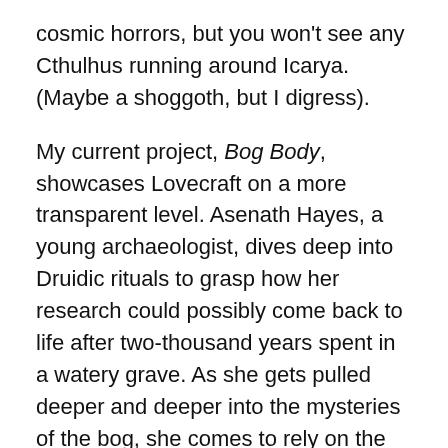cosmic horrors, but you won't see any Cthulhus running around Icarya. (Maybe a shoggoth, but I digress).

My current project, Bog Body, showcases Lovecraft on a more transparent level. Asenath Hayes, a young archaeologist, dives deep into Druidic rituals to grasp how her research could possibly come back to life after two-thousand years spent in a watery grave. As she gets pulled deeper and deeper into the mysteries of the bog, she comes to rely on the protection of the only gods she knows—the gods of Egypt. I was looking to set a brooding, ominous mood throughout the book, even with its romantic sub-plot. In my head, it was always set in Arkham, the faux Providence commonly used to lend a story a Lovecraftian feel. I debated whether or not to go this route, but I didn't want to set it in my own hometown of New York, and calling a place like Arkham by another name seemed